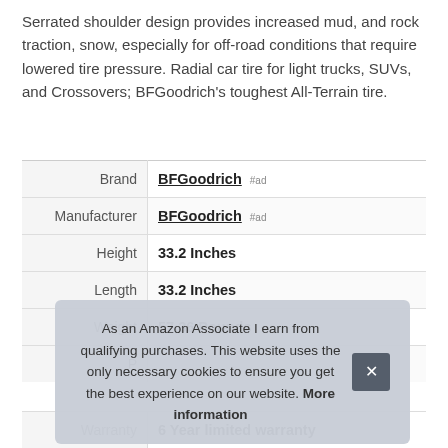Serrated shoulder design provides increased mud, and rock traction, snow, especially for off-road conditions that require lowered tire pressure. Radial car tire for light trucks, SUVs, and Crossovers; BFGoodrich's toughest All-Terrain tire.
|  |  |
| --- | --- |
| Brand | BFGoodrich #ad |
| Manufacturer | BFGoodrich #ad |
| Height | 33.2 Inches |
| Length | 33.2 Inches |
| Weight | 57.36 Pounds |
| P |  |
| Warranty | 6 Year limited warranty |
As an Amazon Associate I earn from qualifying purchases. This website uses the only necessary cookies to ensure you get the best experience on our website. More information